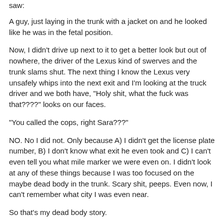saw:
A guy, just laying in the trunk with a jacket on and he looked like he was in the fetal position.
Now, I didn't drive up next to it to get a better look but out of nowhere, the driver of the Lexus kind of swerves and the trunk slams shut. The next thing I know the Lexus very unsafely whips into the next exit and I'm looking at the truck driver and we both have, "Holy shit, what the fuck was that????" looks on our faces.
"You called the cops, right Sara???"
NO. No I did not. Only because A) I didn't get the license plate number, B) I don't know what exit he even took and C) I can't even tell you what mile marker we were even on. I didn't look at any of these things because I was too focused on the maybe dead body in the trunk. Scary shit, peeps. Even now, I can't remember what city I was even near.
So that's my dead body story.